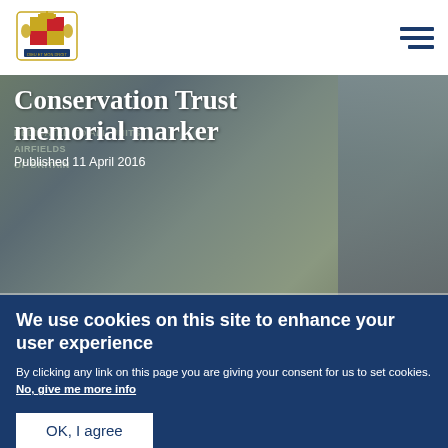Conservation Trust memorial marker — Published 11 April 2016
[Figure (photo): Royal coat of arms logo in header]
Conservation Trust memorial marker
Published 11 April 2016
[Figure (photo): Memorial marker background with text DEDICATED TO ALL UNITS, AIRFIELDS OF BRITAIN]
[Figure (photo): Photo of elderly man (Prince Philip) at outdoor event with building in background]
We use cookies on this site to enhance your user experience
By clicking any link on this page you are giving your consent for us to set cookies. No, give me more info
OK, I agree